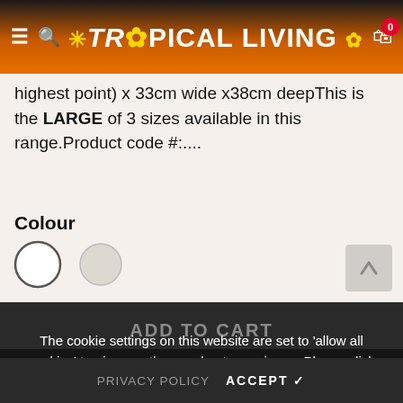TROPICAL LIVING — navigation header with hamburger menu, search, logo, and cart (0 items)
highest point) x 33cm wide x38cm deepThis is the LARGE of 3 sizes available in this range.Product code #:....
Colour
[Figure (other): Two colour swatch circles: first is white/outlined (selected), second is light beige/cream]
Quantity:
[Figure (other): Quantity stepper control with minus button, input field, and plus button]
The cookie settings on this website are set to 'allow all cookies' to give you the very best experience. Please click Accept Cookies to continue to use the site.
ADD TO CART
PRIVACY POLICY  ACCEPT ✔